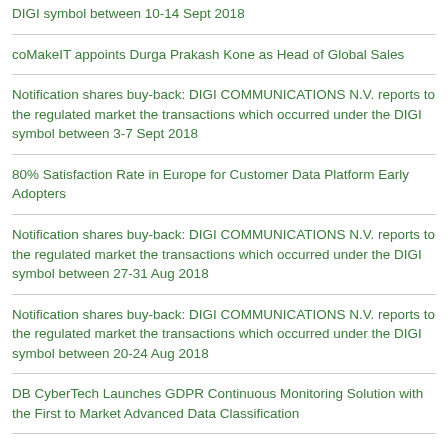DIGI symbol between 10-14 Sept 2018
coMakeIT appoints Durga Prakash Kone as Head of Global Sales
Notification shares buy-back: DIGI COMMUNICATIONS N.V. reports to the regulated market the transactions which occurred under the DIGI symbol between 3-7 Sept 2018
80% Satisfaction Rate in Europe for Customer Data Platform Early Adopters
Notification shares buy-back: DIGI COMMUNICATIONS N.V. reports to the regulated market the transactions which occurred under the DIGI symbol between 27-31 Aug 2018
Notification shares buy-back: DIGI COMMUNICATIONS N.V. reports to the regulated market the transactions which occurred under the DIGI symbol between 20-24 Aug 2018
DB CyberTech Launches GDPR Continuous Monitoring Solution with the First to Market Advanced Data Classification